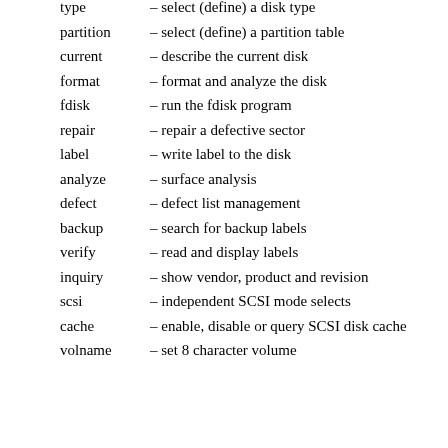type – select (define) a disk type
partition – select (define) a partition table
current – describe the current disk
format – format and analyze the disk
fdisk – run the fdisk program
repair – repair a defective sector
label – write label to the disk
analyze – surface analysis
defect – defect list management
backup – search for backup labels
verify – read and display labels
inquiry – show vendor, product and revision
scsi – independent SCSI mode selects
cache – enable, disable or query SCSI disk cache
volname – set 8 character volume